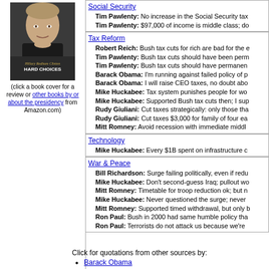[Figure (photo): Book cover of 'Hard Choices' by Hillary Rodham Clinton]
(click a book cover for a review or other books by or about the presidency from Amazon.com)
Social Security
Tim Pawlenty: No increase in the Social Security tax
Tim Pawlenty: $97,000 of income is middle class; do
Tax Reform
Robert Reich: Bush tax cuts for rich are bad for the e
Tim Pawlenty: Bush tax cuts should have been perm
Tim Pawlenty: Bush tax cuts should have permanen
Barack Obama: I'm running against failed policy of p
Barack Obama: I will raise CEO taxes, no doubt abo
Mike Huckabee: Tax system punishes people for wo
Mike Huckabee: Supported Bush tax cuts then; I sup
Rudy Giuliani: Cut taxes strategically: only those tha
Rudy Giuliani: Cut taxes $3,000 for family of four ea
Mitt Romney: Avoid recession with immediate middl
Technology
Mike Huckabee: Every $1B spent on infrastructure c
War & Peace
Bill Richardson: Surge failing politically, even if redu
Mike Huckabee: Don't second-guess Iraq; pullout wo
Mitt Romney: Timetable for troop reduction ok; but n
Mike Huckabee: Never questioned the surge; never
Mitt Romney: Supported timed withdrawal, but only b
Ron Paul: Bush in 2000 had same humble policy tha
Ron Paul: Terrorists do not attack us because we're
Click for quotations from other sources by:
Barack Obama